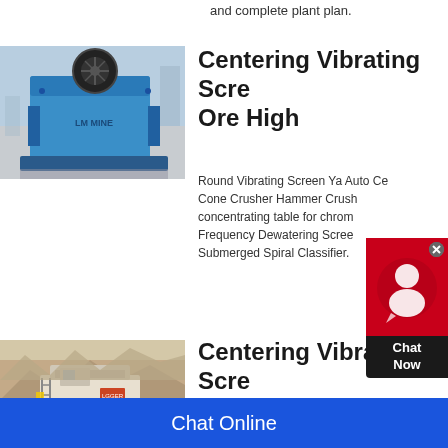and complete plant plan.
Centering Vibrating Screen Ore High
[Figure (photo): Blue jaw crusher machine in industrial setting]
Round Vibrating Screen Ya Auto Ce Cone Crusher Hammer Crush concentrating table for chrom Frequency Dewatering Scree Submerged Spiral Classifier.
Centering Vibrating Screen Ore High
[Figure (photo): Large mining crusher machine on tracked base in quarry/outdoor setting]
And Then Put The Medium Crushed For Separating Vanadium Ore Proc Vanadium, The New Green Metal: S Noteworthy For The Accessibility Of Vanadium Ore Process
Chat Online